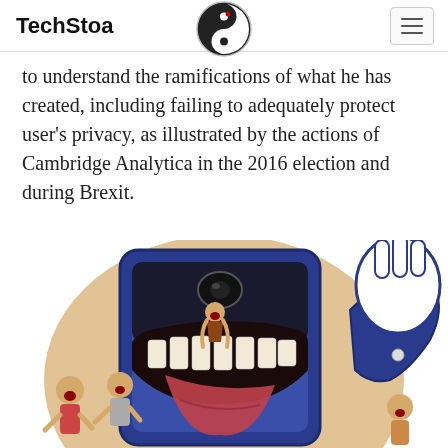TechStoa
to understand the ramifications of what he has created, including failing to adequately protect user's privacy, as illustrated by the actions of Cambridge Analytica in the 2016 election and during Brexit.
[Figure (illustration): A cartoon illustration showing a smartphone device with a large open mouth with teeth, like a shark or monster, with cartoon human figures being scared and grabbed by a large blue cartoon hand/figure emerging from the phone screen. Background has an orange circle.]